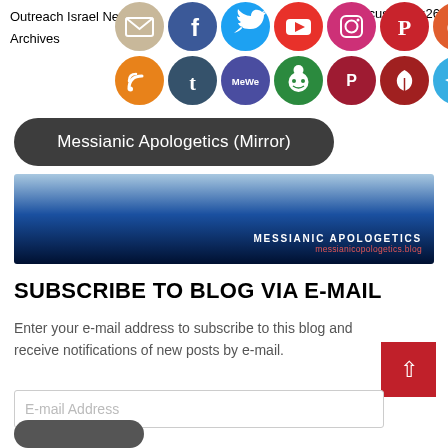Outreach Israel News
Archives
Leviticus 1:1-5:26
[Figure (illustration): Two rows of social media icon circles: Row 1: email, Facebook, Twitter, YouTube, Instagram, Pinterest, Reddit, Spotify; Row 2: RSS, Tumblr, MeWe, Reddit-alien, Parler, (leaf/eco), Telegram, Odysee]
[Figure (illustration): Dark rounded rectangle button with white text reading 'Messianic Apologetics (Mirror)']
[Figure (illustration): Banner image with blue sky gradient background, white uppercase text 'MESSIANIC APOLOGETICS' and red URL text 'messianicopologetics.blog']
SUBSCRIBE TO BLOG VIA E-MAIL
Enter your e-mail address to subscribe to this blog and receive notifications of new posts by e-mail.
E-mail Address